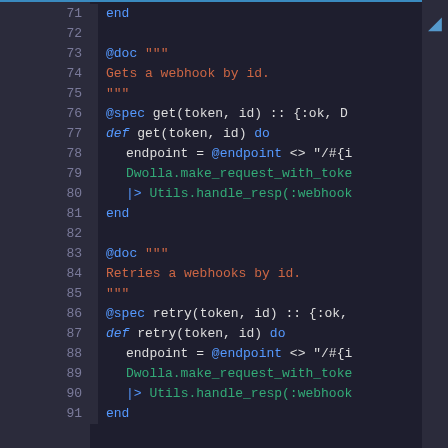[Figure (screenshot): Code editor screenshot showing Elixir source code lines 71-91 with syntax highlighting. Dark background with line numbers. Shows webhook get and retry function definitions.]